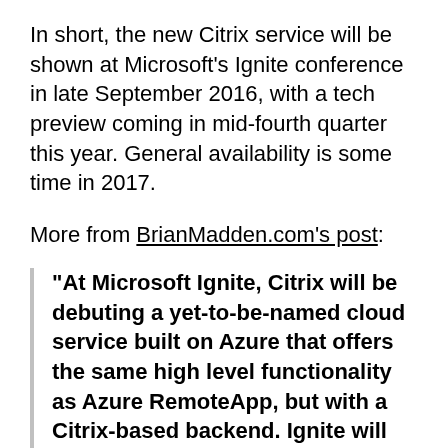In short, the new Citrix service will be shown at Microsoft's Ignite conference in late September 2016, with a tech preview coming in mid-fourth quarter this year. General availability is some time in 2017.
More from BrianMadden.com's post:
"At Microsoft Ignite, Citrix will be debuting a yet-to-be-named cloud service built on Azure that offers the same high level functionality as Azure RemoteApp, but with a Citrix-based backend. Ignite will serve as the first public appearance of it, and you can expect a Tech Preview sometime in mid-Q4 with an eventual release early next year. This